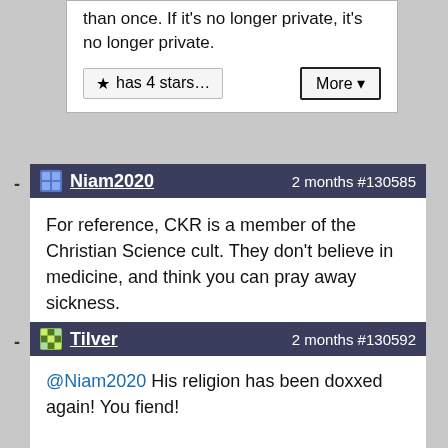than once. If it's no longer private, it's no longer private.
has 4 stars…
More ▾
Niam2020   2 months #130585
For reference, CKR is a member of the Christian Science cult. They don't believe in medicine, and think you can pray away sickness.
has 3 stars…
More ▾
Tilver   2 months #130592
@Niam2020 His religion has been doxxed again! You fiend!
Seriously though, aside from if some actual Geheime Staatspolizei analog is hunting you down and wanting to